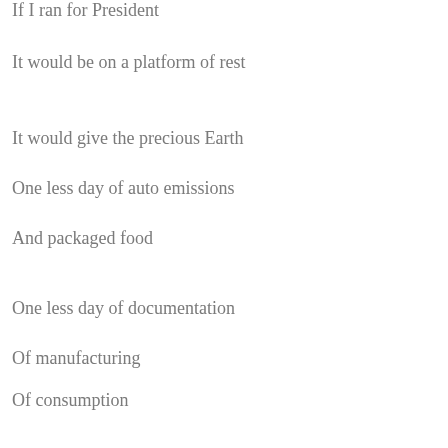If I ran for President
It would be on a platform of rest
It would give the precious Earth
One less day of auto emissions
And packaged food
One less day of documentation
Of manufacturing
Of consumption
A day for planting
A day for exchanging